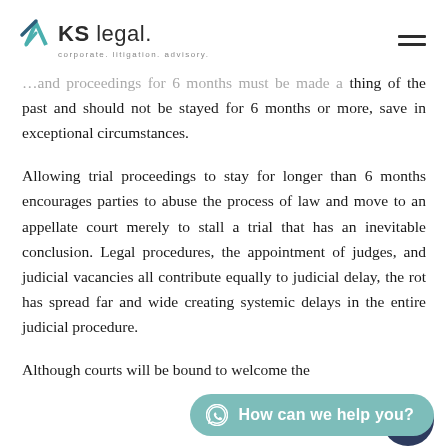KS legal. corporate. litigation. advisory.
…and proceedings for 6 months must be made a thing of the past and should not be stayed for 6 months or more, save in exceptional circumstances.
Allowing trial proceedings to stay for longer than 6 months encourages parties to abuse the process of law and move to an appellate court merely to stall a trial that has an inevitable conclusion. Legal procedures, the appointment of judges, and judicial vacancies all contribute equally to judicial delay, the rot has spread far and wide creating systemic delays in the entire judicial procedure.
Although courts will be bound to welcome the